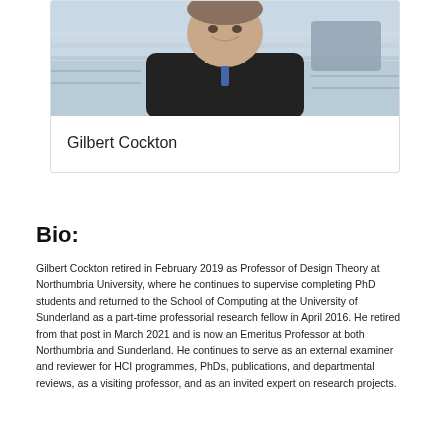[Figure (photo): Headshot photograph of Gilbert Cockton, a man in a black jacket, smiling, with a blue and white background.]
Gilbert Cockton
Bio:
Gilbert Cockton retired in February 2019 as Professor of Design Theory at Northumbria University, where he continues to supervise completing PhD students and returned to the School of Computing at the University of Sunderland as a part-time professorial research fellow in April 2016. He retired from that post in March 2021 and is now an Emeritus Professor at both Northumbria and Sunderland. He continues to serve as an external examiner and reviewer for HCI programmes, PhDs, publications, and departmental reviews, as a visiting professor, and as an invited expert on research projects.